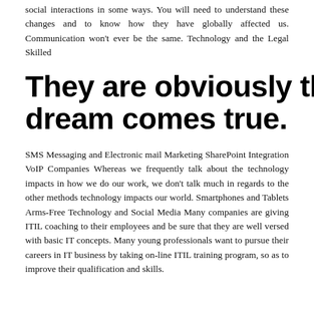social interactions in some ways. You will need to understand these changes and to know how they have globally affected us. Communication won't ever be the same. Technology and the Legal Skilled
They are obviously the dream comes true.
SMS Messaging and Electronic mail Marketing SharePoint Integration VoIP Companies Whereas we frequently talk about the technology impacts in how we do our work, we don't talk much in regards to the other methods technology impacts our world. Smartphones and Tablets Arms-Free Technology and Social Media Many companies are giving ITIL coaching to their employees and be sure that they are well versed with basic IT concepts. Many young professionals want to pursue their careers in IT business by taking on-line ITIL training program, so as to improve their qualification and skills.